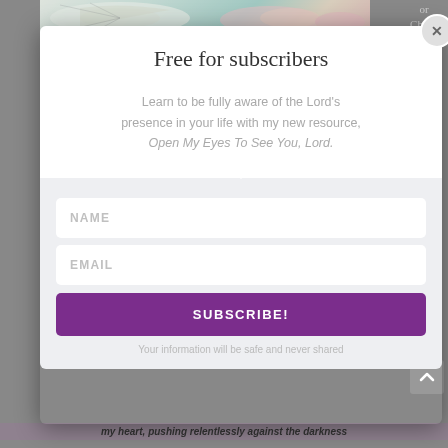[Figure (screenshot): Website background showing partial butterfly image at top and blurred blog content behind a subscription modal popup]
Free for subscribers
Learn to be fully aware of the Lord's presence in your life with my new resource, Open My Eyes To See You, Lord.
NAME
EMAIL
SUBSCRIBE!
Your information will be safe and never shared